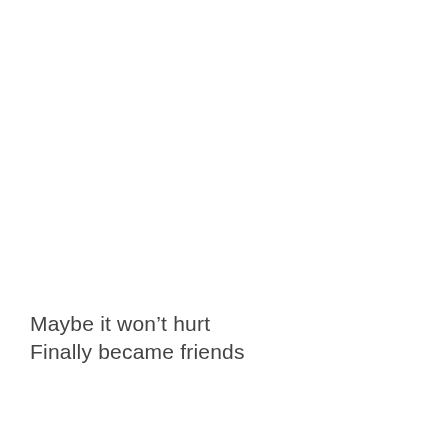Maybe it won't hurt
Finally became friends